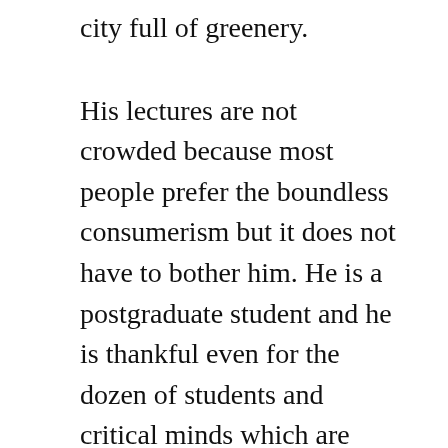city full of greenery.
His lectures are not crowded because most people prefer the boundless consumerism but it does not have to bother him. He is a postgraduate student and he is thankful even for the dozen of students and critical minds which are ready to discuss interesting topics. In his time the universities became true academies which do not serve as a place for bored overgrown teenagers who are trying to get some degrees, not even as a place where people would learn the necessary skills only to compete on the labour market. After an abundant discussion about the importance of old ideologies in the context of new age he is reconsidering himself finding again the historical